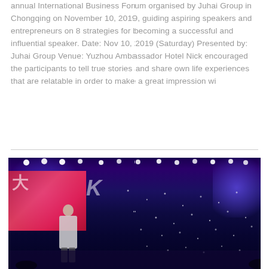annual International Business Forum organised by Juhai Group in Chongqing on November 10, 2019, guiding aspiring speakers and entrepreneurs on 8 strategies for becoming a successful and influential speaker. Date: Nov 10, 2019 (Saturday) Presented by: Juhai Group Venue: Yuzhou Ambassador Hotel Nick encouraged the participants to tell true stories and share own life experiences that are relatable in order to make a great impression wi
[Figure (photo): A dark stage photo showing a speaker on stage at what appears to be the International Business Forum. The stage has dramatic blue and purple lighting, bright white stage lights at the top, a red/pink banner with Chinese characters on the left side of the screen, and scattered star-like light dots across the stage. A person (Nick) stands at the front of the stage.]